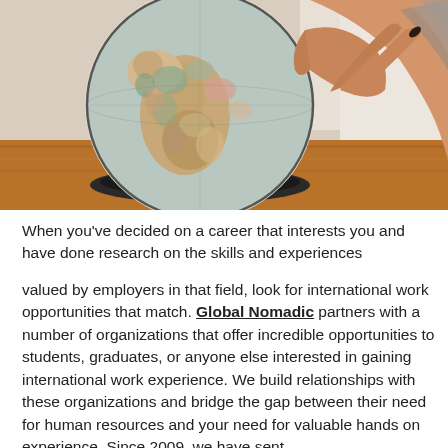[Figure (photo): A person's hand pointing at or touching a world globe, the globe showing colored countries, placed on a wooden surface near a window.]
When you've decided on a career that interests you and have done research on the skills and experiences
valued by employers in that field, look for international work opportunities that match. Global Nomadic partners with a number of organizations that offer incredible opportunities to students, graduates, or anyone else interested in gaining international work experience. We build relationships with these organizations and bridge the gap between their need for human resources and your need for valuable hands on experience. Since 2009, we have sent